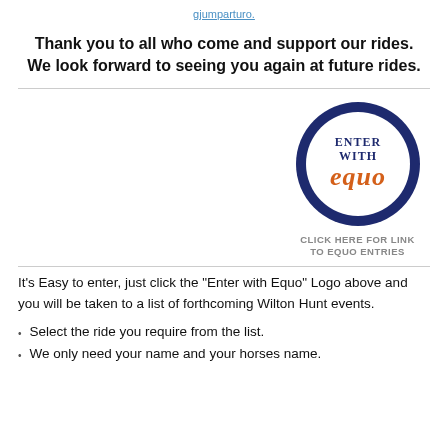gjumparturo.
Thank you to all who come and support our rides. We look forward to seeing you again at future rides.
[Figure (logo): Circular logo with dark navy blue ring border. Inside white circle: text 'ENTER WITH' in dark navy blue serif font, and 'equo' in orange bold stylized font. Caption below: CLICK HERE FOR LINK TO EQUO ENTRIES]
It's Easy to enter, just click the "Enter with Equo" Logo above and you will be taken to a list of forthcoming Wilton Hunt events.
Select the ride you require from the list.
We only need your name and your horses name.